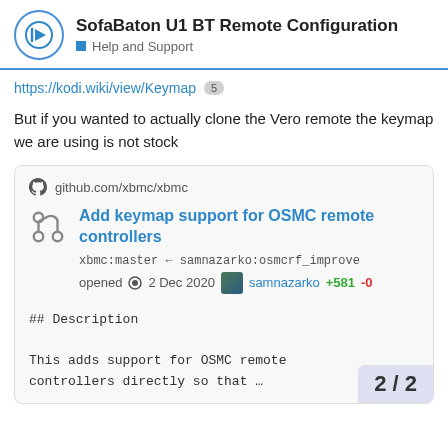SofaBaton U1 BT Remote Configuration — Help and Support
https://kodi.wiki/view/Keymap 5
But if you wanted to actually clone the Vero remote the keymap we are using is not stock
[Figure (screenshot): GitHub pull request card showing: github.com/xbmc/xbmc — Add keymap support for OSMC remote controllers — xbmc:master ← samnazarko:osmcrf_improve — opened 2 Dec 2020 samnazarko +581 -0 — ## Description — This adds support for OSMC remote controllers directly so that…]
2 / 2